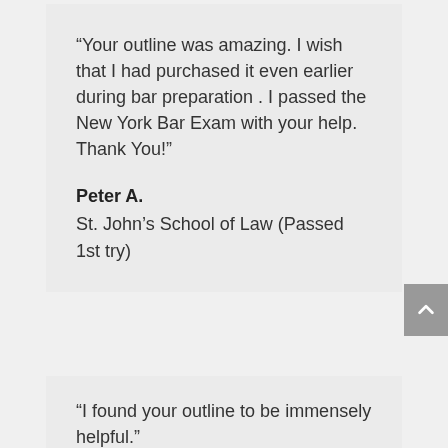“Your outline was amazing. I wish that I had purchased it even earlier during bar preparation . I passed the New York Bar Exam with your help. Thank You!”
Peter A.
St. John’s School of Law (Passed 1st try)
“I found your outline to be immensely helpful.”